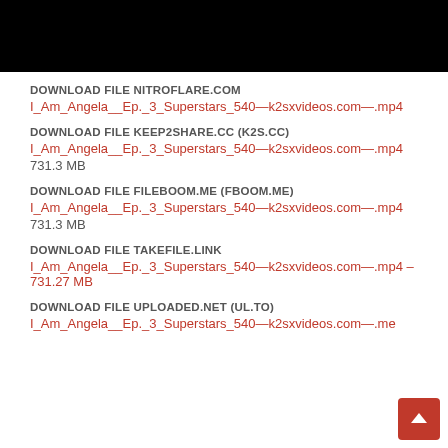[Figure (photo): Black video thumbnail/player area]
DOWNLOAD FILE NITROFLARE.COM
I_Am_Angela__Ep._3_Superstars_540—k2sxvideos.com—.mp4
DOWNLOAD FILE KEEP2SHARE.CC (K2S.CC)
I_Am_Angela__Ep._3_Superstars_540—k2sxvideos.com—.mp4
731.3 MB
DOWNLOAD FILE FILEBOOM.ME (FBOOM.ME)
I_Am_Angela__Ep._3_Superstars_540—k2sxvideos.com—.mp4
731.3 MB
DOWNLOAD FILE TAKEFILE.LINK
I_Am_Angela__Ep._3_Superstars_540—k2sxvideos.com—.mp4 – 731.27 MB
DOWNLOAD FILE UPLOADED.NET (UL.TO)
I_Am_Angela__Ep._3_Superstars_540—k2sxvideos.com—.me